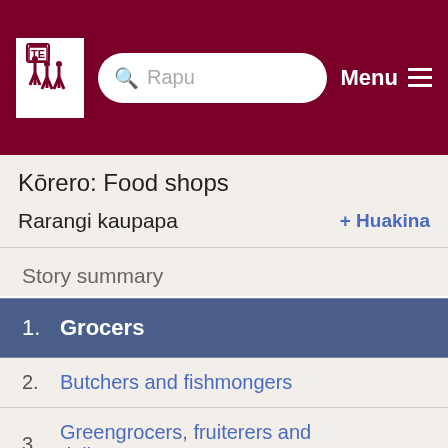Rapu | Menu
Kōrero: Food shops
Rarangi kaupapa + Huakina
Story summary
1. Grocers
2. Butchers and fishmongers
3. Greengrocers, fruiterers and delicatessens
4. Bakers
5. Dairies